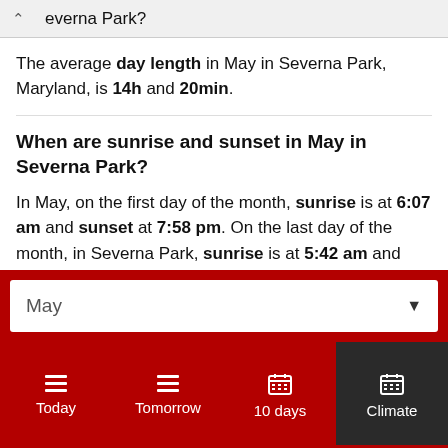everna Park?
The average day length in May in Severna Park, Maryland, is 14h and 20min.
When are sunrise and sunset in May in Severna Park?
In May, on the first day of the month, sunrise is at 6:07 am and sunset at 7:58 pm. On the last day of the month, in Severna Park, sunrise is at 5:42 am and sunset at 8:25 pm EDT.
May
Today  Tomorrow  10 days  Climate